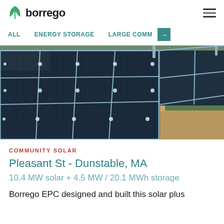borrego
ALL   ENERGY STORAGE   LARGE COMM →
[Figure (photo): Close-up photograph of solar photovoltaic panels in a field installation, showing dark blue/black solar cells with metallic grid lines and mounting frames, with green grass and dirt path visible in background.]
COMMUNITY SOLAR
Pleasant St - Dunstable, MA
10.4 MW solar + 4.5 MW / 20.1 MWh storage
Borrego EPC designed and built this solar plus